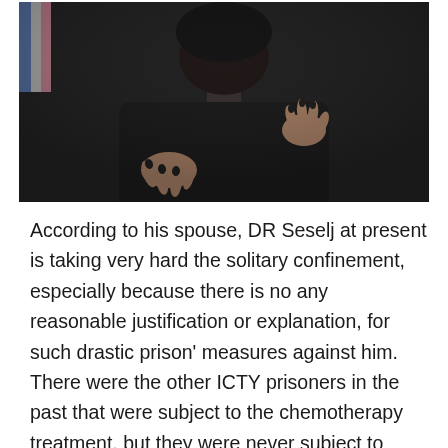[Figure (photo): A person dressed in black, gesturing with both hands, with dark painted fingernails. The upper body and hands are visible against a blurred background with colored vertical bars.]
According to his spouse, DR Seselj at present is taking very hard the solitary confinement, especially because there is no any reasonable justification or explanation, for such drastic prison' measures against him. There were the other ICTY prisoners in the past that were subject to the chemotherapy treatment, but they were never subject to solitary confinement and other forms of ICTY intimidations, like Mr. Seselj is exposed (for over a decade inside this infamous prison).